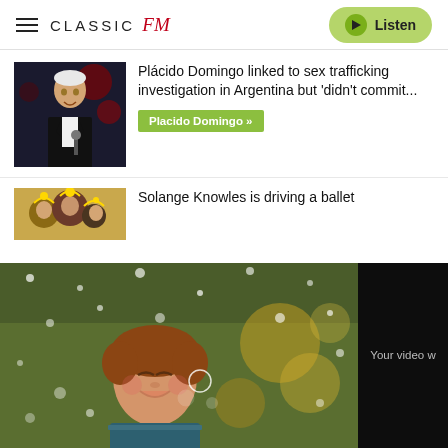CLASSIC fM  Listen
[Figure (photo): Plácido Domingo performing, man in black suit at microphone]
Plácido Domingo linked to sex trafficking investigation in Argentina but 'didn't commit...
Placido Domingo »
[Figure (photo): Group of people in ornate costumes, Solange Knowles article thumbnail]
Solange Knowles is driving a ballet...
[Figure (photo): Video overlay: child looking up with wonder at snow/bubbles in winter scene]
Your video w...